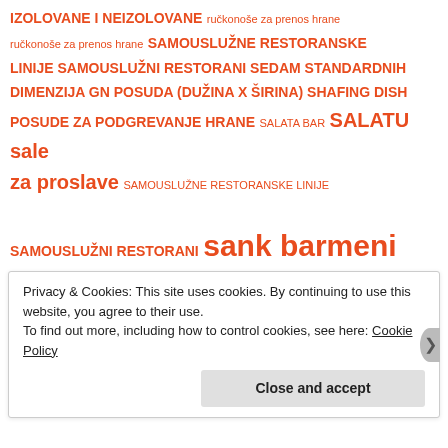IZOLOVANE I NEIZOLOVANE ručkonoše za prenos hrane ručkonoše za prenos hrane SAMOUSLUŽNE RESTORANSKE LINIJE SAMOUSLUŽNI RESTORANI SEDAM STANDARDNIH DIMENZIJA GN POSUDA (DUŽINA x ŠIRINA) SHAFING DISH POSUDE ZA PODGREVANJE HRANE SALATA BAR SALATU sale za proslave SAMOUSLUŽNE RESTORANSKE LINIJE SAMOUSLUŽNI RESTORANI sank barmeni satare secera seckanog voca SEDAM DIMENZIJA GN POKLOPACA SEDAM STANDARDNIH DIMENZIJA GN POSUDA (DUŽINA x ŠIRINA) shaker sitni inentar ya ugostiteljstvo sladoled... Čokanji slamke slamke pvc SLAMKE UKRASNE
Privacy & Cookies: This site uses cookies. By continuing to use this website, you agree to their use.
To find out more, including how to control cookies, see here: Cookie Policy